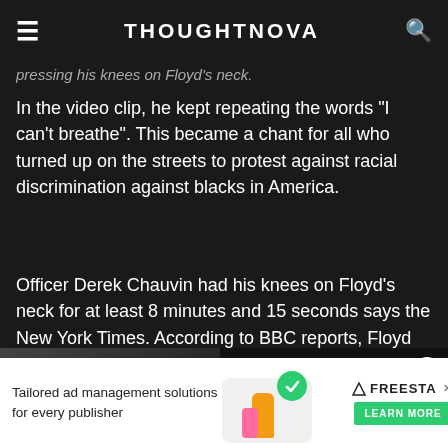THOUGHTNOVA
pressing his knees on Floyd's neck.
In the video clip, he kept repeating the words "I can't breathe". This became a chant for all who turned up on the streets to protest against racial discrimination against blacks in America.
Officer Derek Chauvin had his knees on Floyd's neck for at least 8 minutes and 15 seconds says the New York Times. According to BBC reports, Floyd died...
[Figure (screenshot): Embedded video card showing Kourtney Kardashian Shares Never-Before-Seen Wedding Pics with a blue title bar over a thumbnail, and a right-side panel with the same title and a close button]
Kourtney Kardashian Shares Never-Before-Seen Wedding Pics
[Figure (infographic): Advertisement banner: Tailored ad management solutions for every publisher - FreeStarMedia with Learn More button]